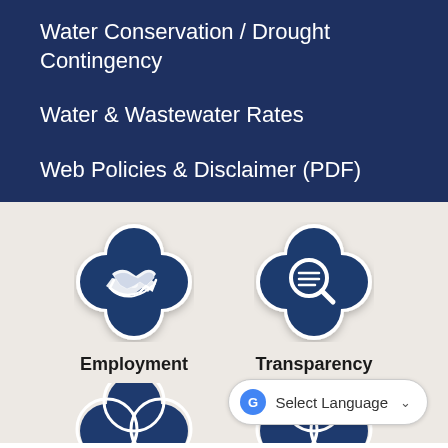Water Conservation / Drought Contingency
Water & Wastewater Rates
Web Policies & Disclaimer (PDF)
[Figure (illustration): Quatrefoil-shaped dark blue icon with white handshake symbol representing Employment]
Employment
[Figure (illustration): Quatrefoil-shaped dark blue icon with white magnifying glass/search symbol representing Transparency]
Transparency
[Figure (illustration): Partial quatrefoil-shaped dark blue icon at bottom left, partially cropped]
[Figure (illustration): Partial quatrefoil-shaped dark blue icon at bottom right, partially cropped]
Select Language